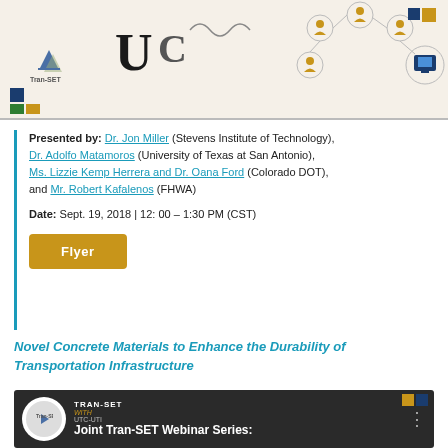[Figure (logo): Top banner with Tran-SET logo, UC logo, network diagram illustration on a cream background with color block squares]
Presented by: Dr. Jon Miller (Stevens Institute of Technology), Dr. Adolfo Matamoros (University of Texas at San Antonio), Ms. Lizzie Kemp Herrera and Dr. Oana Ford (Colorado DOT), and Mr. Robert Kafalenos (FHWA)
Date: Sept. 19, 2018 | 12:00 – 1:30 PM (CST)
Flyer
Novel Concrete Materials to Enhance the Durability of Transportation Infrastructure
[Figure (screenshot): Video thumbnail showing Joint Tran-SET Webinar Series title card with Tran-SET logo and WITH text]